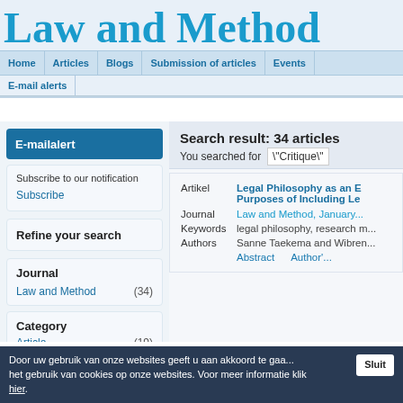Law and Method
Home | Articles | Blogs | Submission of articles | Events | E-mail alerts
E-mailalert
Subscribe to our notification
Subscribe
Refine your search
Journal
Law and Method (34)
Search result: 34 articles
You searched for  "Critique"
Artikel  Legal Philosophy as an E... Purposes of Including Le...
Journal  Law and Method, January...
Keywords  legal philosophy, research m...
Authors  Sanne Taekema and Wibren...
Abstract  Author'...
Category
Article (19)
Door uw gebruik van onze websites geeft u aan akkoord te gaa... het gebruik van cookies op onze websites. Voor meer informatie klik hier.